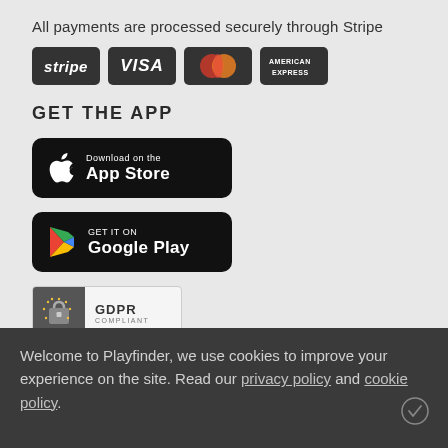All payments are processed securely through Stripe
[Figure (logo): Payment logos: Stripe, Visa, Mastercard, American Express on dark badges]
GET THE APP
[Figure (logo): Download on the App Store button (black, Apple logo)]
[Figure (logo): Get it on Google Play button (black, Google Play triangle logo)]
[Figure (logo): GDPR Compliant badge]
Welcome to Playfinder, we use cookies to improve your experience on the site. Read our privacy policy and cookie policy.